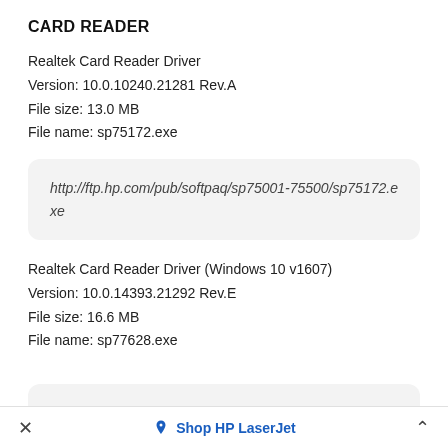CARD READER
Realtek Card Reader Driver
Version: 10.0.10240.21281 Rev.A
File size: 13.0 MB
File name: sp75172.exe
http://ftp.hp.com/pub/softpaq/sp75001-75500/sp75172.exe
Realtek Card Reader Driver (Windows 10 v1607)
Version: 10.0.14393.21292 Rev.E
File size: 16.6 MB
File name: sp77628.exe
× Shop HP LaserJet ^